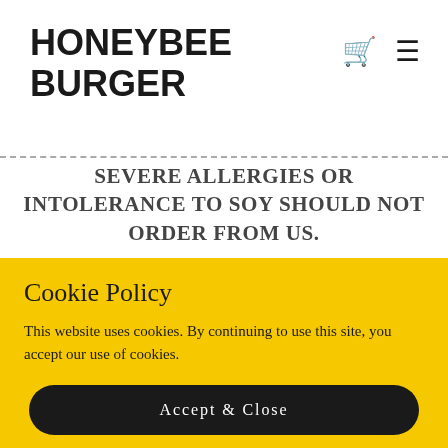HONEYBEE BURGER
SEVERE ALLERGIES OR INTOLERANCE TO SOY SHOULD NOT ORDER FROM US.
Cookie Policy
This website uses cookies. By continuing to use this site, you accept our use of cookies.
Accept & Close